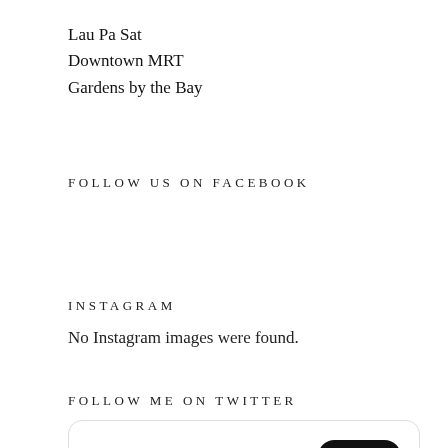Lau Pa Sat
Downtown MRT
Gardens by the Bay
FOLLOW US ON FACEBOOK
INSTAGRAM
No Instagram images were found.
FOLLOW ME ON TWITTER
Tweets from @EduKateSg  Follow